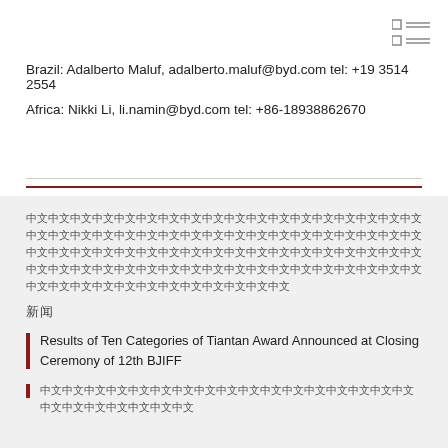[Figure (other): Menu/list icon with two rows of square and lines]
Brazil: Adalberto Maluf, adalberto.maluf@byd.com tel: +19 3514 2554
Africa: Nikki Li, li.namin@byd.com tel: +86-18938862670
中文中文中文中文中文中文中文中文中文中文中文中文中文中文中文中文中文中文中文中文中文中文中文中文中文中文中文中文中文中文中文中文中文中文中文中文中文中文中文中文中文中文中文中文中文中文中文中文中文中文中文中文中文中文中文中文中文中文中文中文中文中文中文中文中文中文中文中文中文中文中文中文中文中文中文中文中文中文中文中文中文中文中文中文中文中文中文中文中文中文中文中文中文中文中文中文
新闻
Results of Ten Categories of Tiantan Award Announced at Closing Ceremony of 12th BJIFF
中文中文中文中文中文中文中文中文中文中文中文中文中文中文中文中文中文中文中文中文中文中文中文中文